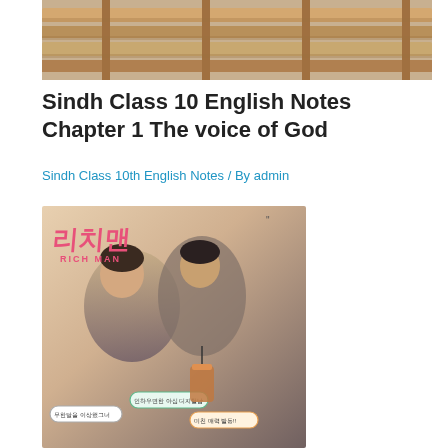[Figure (photo): Top portion of a photo showing wooden benches or shelves in warm brown tones, partially cropped]
Sindh Class 10 English Notes Chapter 1 The voice of God
Sindh Class 10th English Notes / By admin
[Figure (photo): Korean drama/show poster for 'Rich Man' (리치맨) featuring two young people (a man and a woman) with Korean text, pink handwritten title, and various speech bubble stickers]